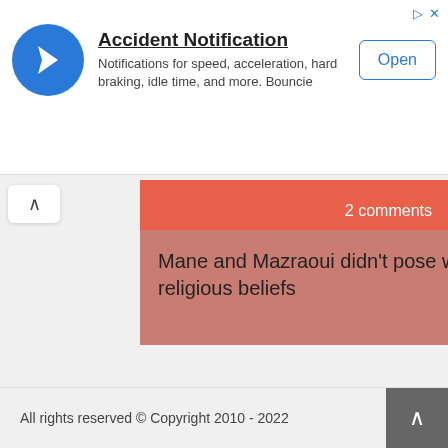[Figure (infographic): Ad banner: Accident Notification app icon (blue circle with white cursor arrow), title 'Accident Notification', subtitle text, and Open button]
2 comments
Mane and Mazraoui didn't pose with beer due to his religious beliefs
1 comments
Asia Cup: Afghanistan vs Bangladesh match number 3 of 13 group B
1 comments
All rights reserved © Copyright 2010 - 2022